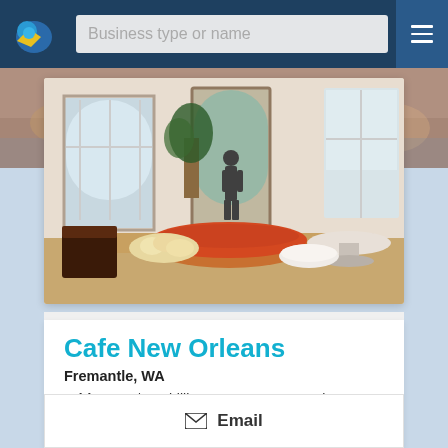Business type or name
[Figure (photo): Interior of Cafe New Orleans showing arched windows, a buffet spread with seafood and pastries, and a person standing in a doorway with natural light coming in.]
Cafe New Orleans
Fremantle, WA
Address: 1/11 Phillimore Street, Fremantle WA 6160
0426 249 603
Email